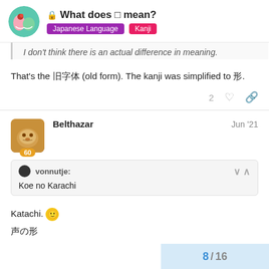What does □ mean? Japanese Language Kanji
I don't think there is an actual difference in meaning.
That's the □□□ (old form). The kanji was simplified to □.
2 ♡ 🔗
Belthazar  Jun '21
vonnutje: Koe no Karachi
Katachi. 🙂
□□□
8 / 16